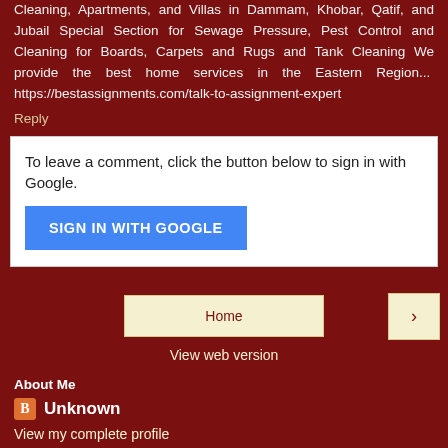Cleaning, Apartments, and Villas in Dammam, Khobar, Qatif, and Jubail Special Section for Sewage Pressure, Pest Control and Cleaning for Boards, Carpets and Rugs and Tank Cleaning We provide the best home services in the Eastern Region... https://bestassignments.com/talk-to-assignment-expert
Reply
To leave a comment, click the button below to sign in with Google.
SIGN IN WITH GOOGLE
Home
>
View web version
About Me
Unknown
View my complete profile